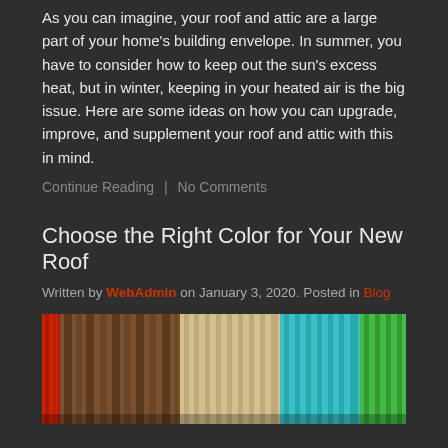As you can imagine, your roof and attic are a large part of your home's building envelope. In summer, you have to consider how to keep out the sun's excess heat, but in winter, keeping in your heated air is the big issue. Here are some ideas on how you can upgrade, improve, and supplement your roof and attic with this in mind.
Continue Reading  |  No Comments
Choose the Right Color for Your New Roof
Written by WebAdmin on January 3, 2020. Posted in Blog
[Figure (photo): Colorful roof panel samples showing red, brown, tan/beige, teal/turquoise, and green vertical metal roofing strips]